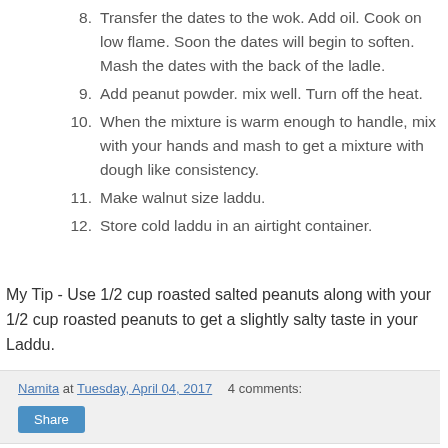8. Transfer the dates to the wok. Add oil. Cook on low flame. Soon the dates will begin to soften. Mash the dates with the back of the ladle.
9. Add peanut powder. mix well. Turn off the heat.
10. When the mixture is warm enough to handle, mix with your hands and mash to get a mixture with dough like consistency.
11. Make walnut size laddu.
12. Store cold laddu in an airtight container.
My Tip - Use 1/2 cup roasted salted peanuts along with your 1/2 cup roasted peanuts to get a slightly salty taste in your Laddu.
Namita at Tuesday, April 04, 2017   4 comments: Share